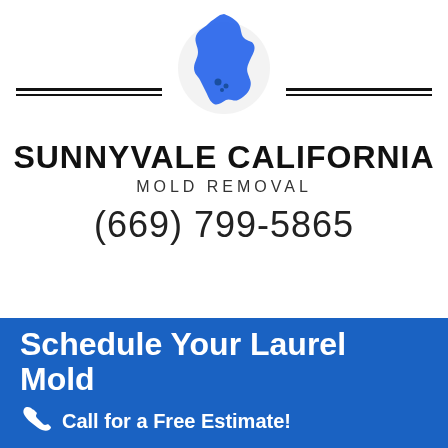[Figure (logo): Blue silhouette of California state map with circular frame, company logo for Sunnyvale California Mold Removal]
SUNNYVALE CALIFORNIA
MOLD REMOVAL
(669) 799-5865
Schedule Your Laurel Mold
Call for a Free Estimate!